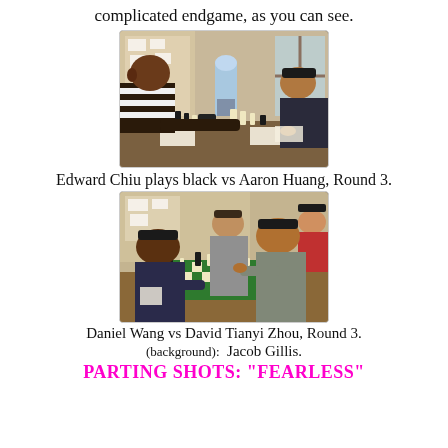complicated endgame, as you can see.
[Figure (photo): Two people playing chess across a table in a room with a water cooler and bulletin boards in the background. The person on the left wears a striped sweater.]
Edward Chiu plays black vs Aaron Huang, Round 3.
[Figure (photo): Three or more people playing chess around a table. Several chess sets visible, with one person reaching to move a piece. Another person is visible in the background.]
Daniel Wang vs David Tianyi Zhou, Round 3.
(background): Jacob Gillis.
PARTING SHOTS: "FEARLESS"